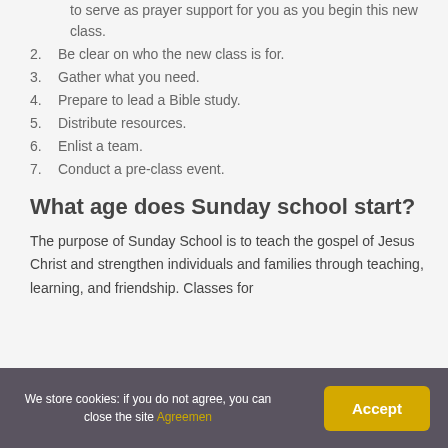to serve as prayer support for you as you begin this new class.
2. Be clear on who the new class is for.
3. Gather what you need.
4. Prepare to lead a Bible study.
5. Distribute resources.
6. Enlist a team.
7. Conduct a pre-class event.
What age does Sunday school start?
The purpose of Sunday School is to teach the gospel of Jesus Christ and strengthen individuals and families through teaching, learning, and friendship. Classes for
We store cookies: if you do not agree, you can close the site Agreemen